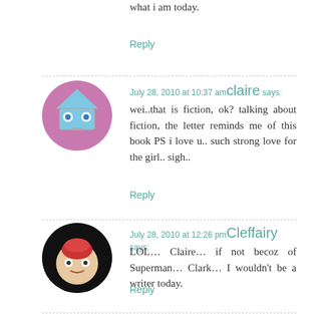what i am today.
Reply
[Figure (illustration): Avatar of user claire - cartoon blue robot/geometric face on purple background]
July 28, 2010 at 10:37 am claire says:
wei..that is fiction, ok? talking about fiction, the letter reminds me of this book PS i love u.. such strong love for the girl.. sigh..
Reply
[Figure (illustration): Avatar of user Cleffairy - anime style character with red hat on black background]
July 28, 2010 at 12:26 pm Cleffairy says:
LOL… Claire… if not becoz of Superman… Clark… I wouldn't be a writer today.
Reply
[Figure (illustration): Avatar of user kathy - cartoon robot face on purple background]
July 28, 2010 at 11:41 am kathy says:
pengsannnnnn…why i keep pengsan-ing when i read your blog nowadays ah…haiz……penyakit